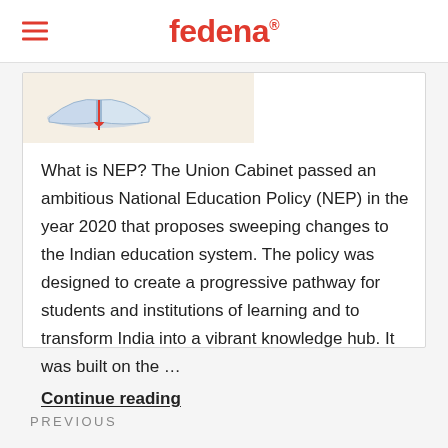fedena
[Figure (illustration): Open book icon with blue pages and red bookmark/ribbon, on a light beige/cream background area]
What is NEP? The Union Cabinet passed an ambitious National Education Policy (NEP) in the year 2020 that proposes sweeping changes to the Indian education system. The policy was designed to create a progressive pathway for students and institutions of learning and to transform India into a vibrant knowledge hub. It was built on the …
Continue reading
PREVIOUS